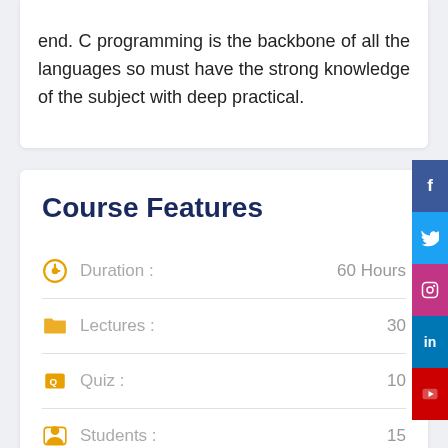end. C programming is the backbone of all the languages so must have the strong knowledge of the subject with deep practical.
Course Features
Duration : 60 Hours
Lectures : 30
Quiz : 10
Students : 15